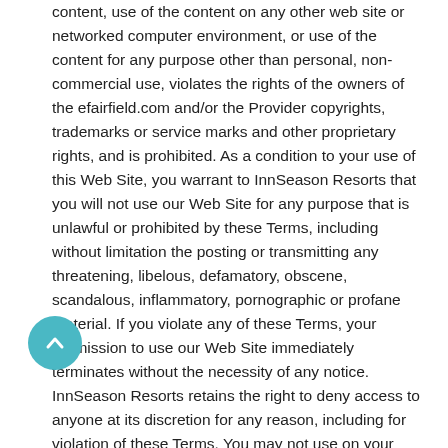content, use of the content on any other web site or networked computer environment, or use of the content for any purpose other than personal, non-commercial use, violates the rights of the owners of the efairfield.com and/or the Provider copyrights, trademarks or service marks and other proprietary rights, and is prohibited. As a condition to your use of this Web Site, you warrant to InnSeason Resorts that you will not use our Web Site for any purpose that is unlawful or prohibited by these Terms, including without limitation the posting or transmitting any threatening, libelous, defamatory, obscene, scandalous, inflammatory, pornographic or profane material. If you violate any of these Terms, your permission to use our Web Site immediately terminates without the necessity of any notice. InnSeason Resorts retains the right to deny access to anyone at its discretion for any reason, including for violation of these Terms. You may not use on your web site any trademarks, service marks or copyrighted materials appearing on this Web Site